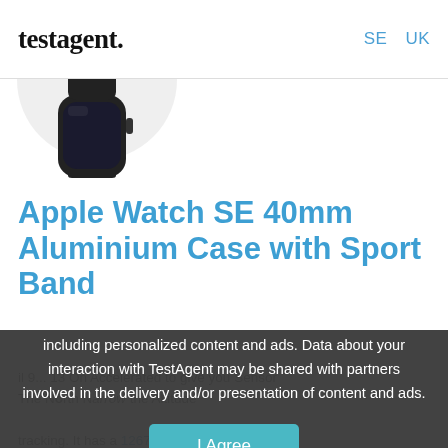testagent.   SE  UK
[Figure (photo): Apple Watch SE product photo, dark/black watch face on white and light gray circular background]
Apple Watch SE 40mm Aluminium Case with Sport Band
This site uses cookies to give you the best possible experience, including personalized content and ads. Data about your interaction with TestAgent may be shared with partners involved in the delivery and/or presentation of content and ads.
I Agree